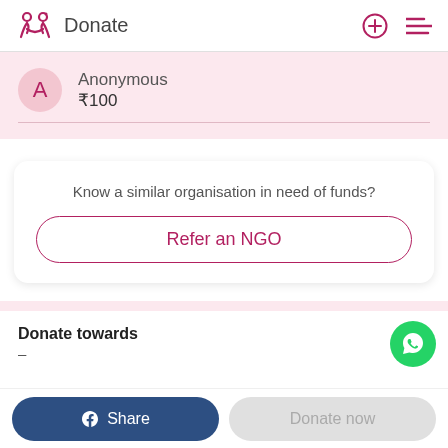Donate
Anonymous
₹100
Know a similar organisation in need of funds?
Refer an NGO
Donate towards
—
Share
Donate now